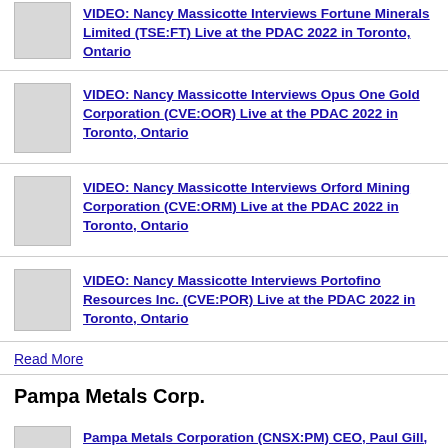VIDEO: Nancy Massicotte Interviews Fortune Minerals Limited (TSE:FT) Live at the PDAC 2022 in Toronto, Ontario
VIDEO: Nancy Massicotte Interviews Opus One Gold Corporation (CVE:OOR) Live at the PDAC 2022 in Toronto, Ontario
VIDEO: Nancy Massicotte Interviews Orford Mining Corporation (CVE:ORM) Live at the PDAC 2022 in Toronto, Ontario
VIDEO: Nancy Massicotte Interviews Portofino Resources Inc. (CVE:POR) Live at the PDAC 2022 in Toronto, Ontario
Read More
Pampa Metals Corp.
Pampa Metals Corporation (CNSX:PM) CEO, Paul Gill, Interview with Nancy Massicotte of IR Pro Communications